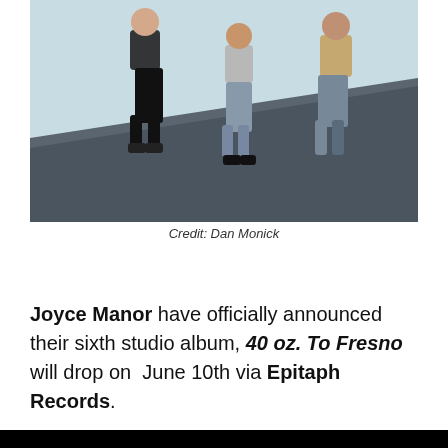[Figure (photo): Three band members (Joyce Manor) sitting and standing on a rooftop edge against a light sky background]
Credit: Dan Monick
Joyce Manor have officially announced their sixth studio album, 40 oz.  To Fresno will drop on  June 10th via Epitaph Records.
[Figure (screenshot): Black video player area with a white play button triangle in the center]